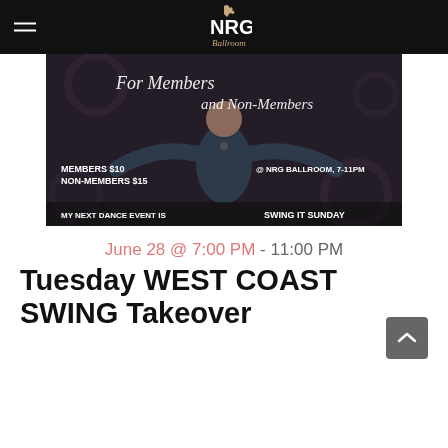NRG Ballroom
[Figure (photo): Promotional event flyer with a man in a dark shirt standing with arms outstretched against a dark ornate background. Text reads: For Members and Non-Members, MEMBERS $10, NON-MEMBERS $15, @ NRG BALLROOM, 7-11PM, MY NEXT DANCE EVENT IS, SWING IT SUNDAY]
June 28 @ 7:00 PM - 11:00 PM
Tuesday WEST COAST SWING Takeover